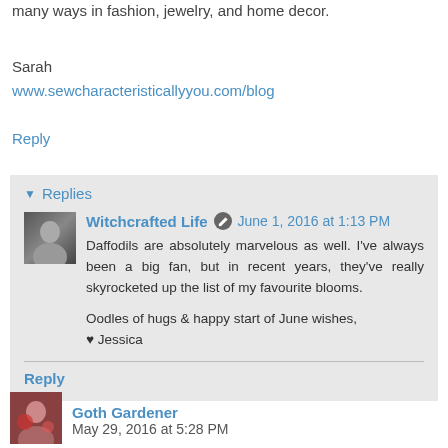many ways in fashion, jewelry, and home decor.
Sarah
www.sewcharacteristicallyyou.com/blog
Reply
Replies
Witchcrafted Life  June 1, 2016 at 1:13 PM
Daffodils are absolutely marvelous as well. I've always been a big fan, but in recent years, they've really skyrocketed up the list of my favourite blooms.

Oodles of hugs & happy start of June wishes,
♥ Jessica
Reply
Goth Gardener  May 29, 2016 at 5:28 PM